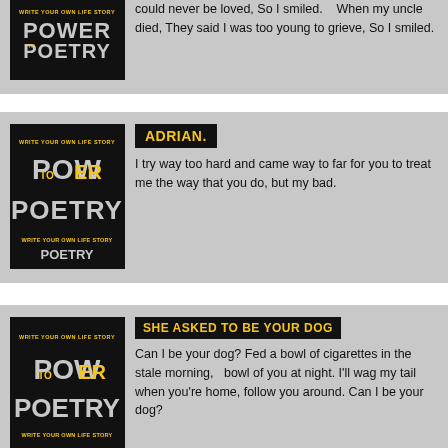could never be loved, So I smiled.    When my uncle died, They said I was too young to grieve, So I smiled.
[Figure (logo): Power Poetry logo - black background with yellow text]
ADRIAN.
I try way too hard and came way to far for you to treat me the way that you do, but my bad.
[Figure (logo): Power Poetry logo - black background with yellow text]
SHE ASKED TO BE YOUR DOG
Can I be your dog? Fed a bowl of cigarettes in the stale morning,   bowl of you at night. I'll wag my tail when you're home, follow you around. Can I be your dog?
[Figure (logo): Power Poetry logo - black background with yellow text]